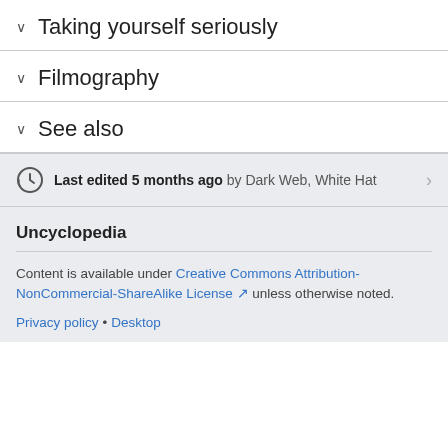Taking yourself seriously
Filmography
See also
Last edited 5 months ago by Dark Web, White Hat
Uncyclopedia
Content is available under Creative Commons Attribution-NonCommercial-ShareAlike License unless otherwise noted.
Privacy policy • Desktop